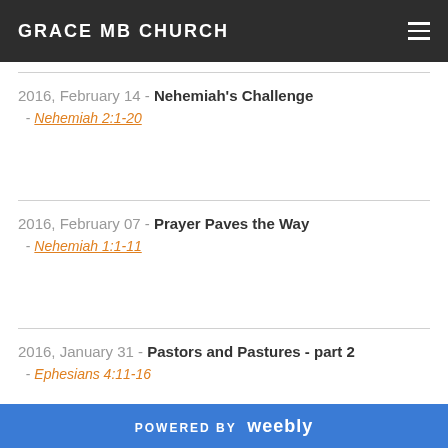GRACE MB CHURCH
2016, February 14 - Nehemiah's Challenge - Nehemiah 2:1-20
2016, February 07 - Prayer Paves the Way - Nehemiah 1:1-11
2016, January 31 - Pastors and Pastures - part 2 - Ephesians 4:11-16
POWERED BY weebly